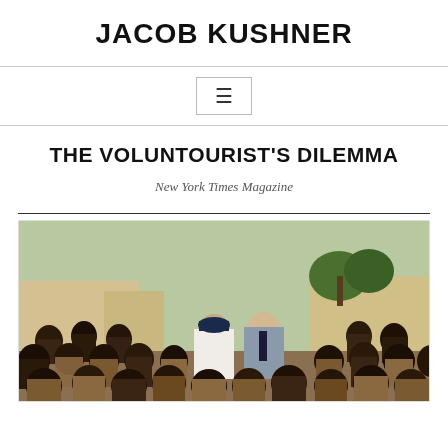JACOB KUSHNER
THE VOLUNTOURIST'S DILEMMA
New York Times Magazine
[Figure (photo): Two Western men standing among a large group of African schoolchildren outdoors, with school buildings and trees in the background.]